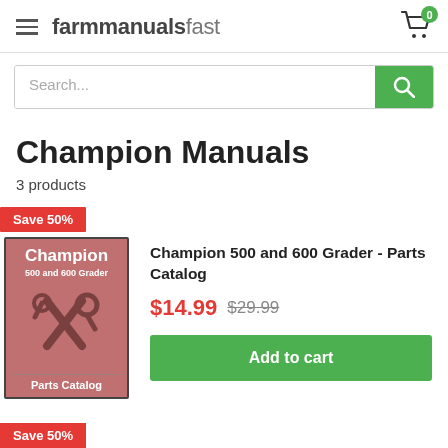farmmanualsfastfast
Search...
Champion Manuals
3 products
[Figure (other): Product thumbnail for Champion 500 and 600 Grader Parts Catalog with red Save 50% badge]
Champion 500 and 600 Grader - Parts Catalog
$14.99  $29.99
Add to cart
Save 50%